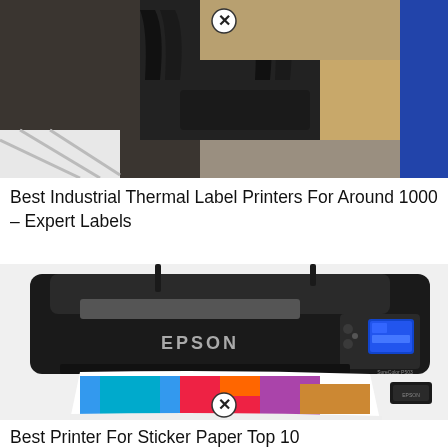[Figure (photo): Close-up photo of industrial thermal label printer mechanism showing black plastic feed guides and rollers, with a wooden shelf and blue metal frame in background. Has a circular X/close button overlay near top center.]
Best Industrial Thermal Label Printers For Around 1000 – Expert Labels
[Figure (photo): Photo of an Epson SureColor P503 inkjet printer in black, shown at an angle with colorful photo prints coming out of the front paper tray. Two antennas visible on top. Has a circular X/close button overlay near bottom center.]
Best Printer For Sticker Paper Top 10